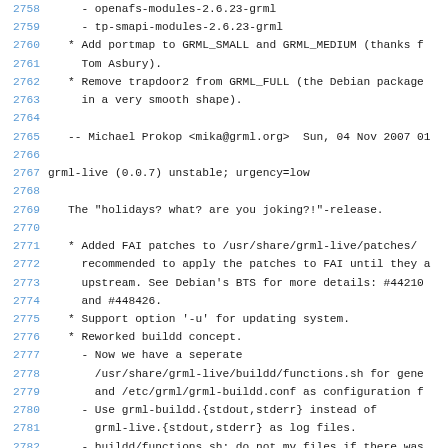2758     - openafs-modules-2.6.23-grml
2759     - tp-smapi-modules-2.6.23-grml
2760   * Add portmap to GRML_SMALL and GRML_MEDIUM (thanks f
2761     Tom Asbury).
2762   * Remove trapdoor2 from GRML_FULL (the Debian package
2763     in a very smooth shape).
2764
2765   -- Michael Prokop <mika@grml.org>  Sun, 04 Nov 2007 01
2766
2767 grml-live (0.0.7) unstable; urgency=low
2768
2769   The "holidays? what? are you joking?!"-release.
2770
2771   * Added FAI patches to /usr/share/grml-live/patches/
2772     recommended to apply the patches to FAI until they a
2773     upstream. See Debian's BTS for more details: #44210
2774     and #448426.
2775   * Support option '-u' for updating system.
2776   * Reworked buildd concept.
2777     - Now we have a seperate
2778       /usr/share/grml-live/buildd/functions.sh for gene
2779       and /etc/grml/grml-buildd.conf as configuration f
2780     - Use grml-buildd.{stdout,stderr} instead of
2781       grml-live.{stdout,stderr} as log files.
2782     - buildd/functions.sh: do not mv files if there was
2783       during grml-live execution
2784     - do not re-execute grml-live is the target ISO exis